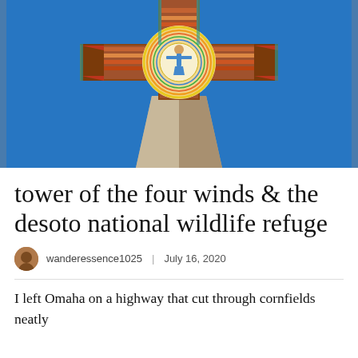[Figure (photo): An ornate cross monument photographed from below against a clear blue sky. The cross has colorful mosaic or tile work with a circular design in the center featuring a figure, and the base is a tall tapering stone or concrete tower. Colors include red, orange, yellow, and turquoise.]
tower of the four winds & the desoto national wildlife refuge
wanderessence1025   |   July 16, 2020
I left Omaha on a highway that cut through cornfields neatly